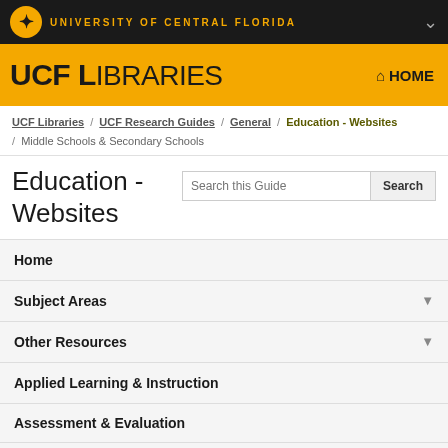UNIVERSITY OF CENTRAL FLORIDA
UCF Libraries
UCF Libraries / UCF Research Guides / General / Education - Websites / Middle Schools & Secondary Schools
Education - Websites
Home
Subject Areas
Other Resources
Applied Learning & Instruction
Assessment & Evaluation
Career & Technical Education